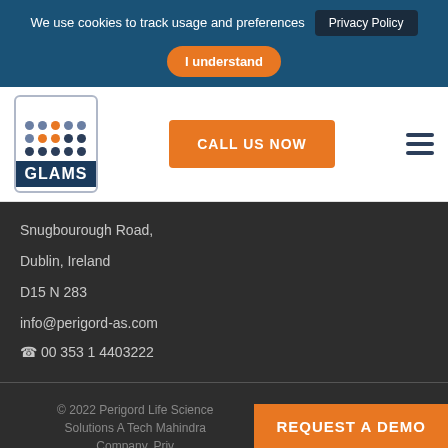We use cookies to track usage and preferences Privacy Policy I understand
[Figure (logo): GLAMS logo with dot grid pattern and dark blue background label]
CALL US NOW
Snugbourough Road,
Dublin, Ireland
D15 N 283
info@perigord-as.com
☎ 00 353 1 4403222
© 2022 Perigord Life Science Solutions A Tech Mahindra Company. Priv…
REQUEST A DEMO